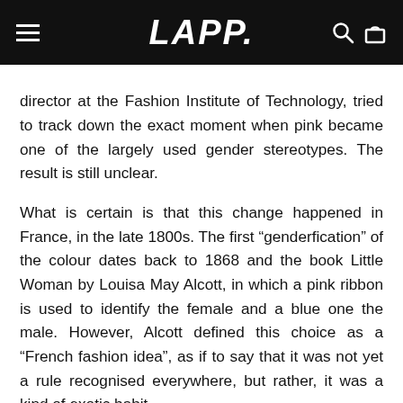LAPP.
director at the Fashion Institute of Technology, tried to track down the exact moment when pink became one of the largely used gender stereotypes. The result is still unclear.
What is certain is that this change happened in France, in the late 1800s. The first “genderfication” of the colour dates back to 1868 and the book Little Woman by Louisa May Alcott, in which a pink ribbon is used to identify the female and a blue one the male. However, Alcott defined this choice as a “French fashion idea”, as if to say that it was not yet a rule recognised everywhere, but rather, it was a kind of exotic habit.
Around the same time, though, men all over Europe began to dress in more suit-like coats and trousers in shades of black and navy blue, pushing off all the other colours and decorations to women.
Between the 1930s and 1940s things started to change: men